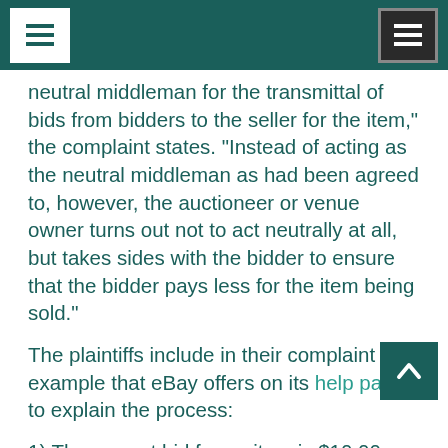[Navigation header with menu icons]
neutral middleman for the transmittal of bids from bidders to the seller for the item," the complaint states. "Instead of acting as the neutral middleman as had been agreed to, however, the auctioneer or venue owner turns out not to act neutrally at all, but takes sides with the bidder to ensure that the bidder pays less for the item being sold."
The plaintiffs include in their complaint the example that eBay offers on its help page to explain the process:
1) The current bid for an item is $10.00. Tom is the high bidder, and has placed a